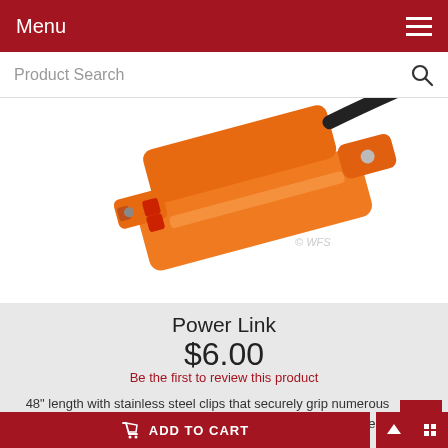Menu
[Figure (photo): Orange power link clamp/connector tool with stainless steel clips, shown at angle against white background. Watermark '© WFS' visible in lower right area of image.]
Power Link
$6.00
Be the first to review this product
48" length with stainless steel clips that securely grip numerous conductors. Great for connecting netting to perimeter fence. Learn More